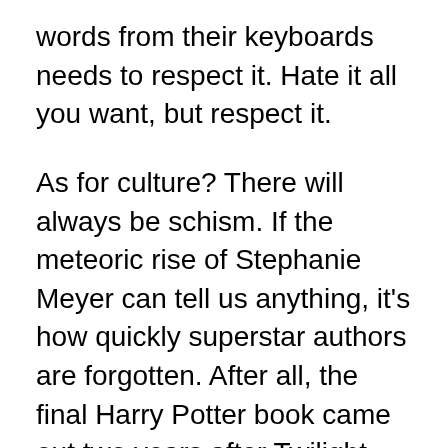words from their keyboards needs to respect it. Hate it all you want, but respect it.
As for culture? There will always be schism. If the meteoric rise of Stephanie Meyer can tell us anything, it's how quickly superstar authors are forgotten. After all, the final Harry Potter book came out two years after Twilight was published. It broke swift-seller records. The movie isn't even out yet. But who got on the list as author of the decade? Stephanie Meyer.